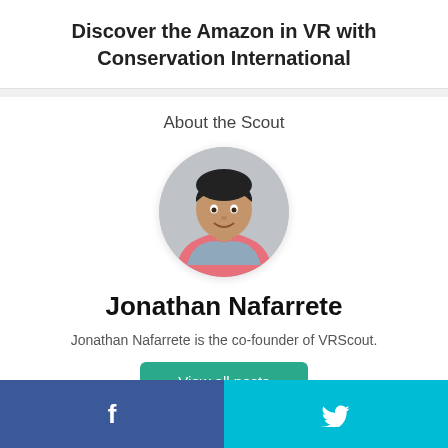Discover the Amazon in VR with Conservation International
About the Scout
[Figure (photo): Circular profile photo of Jonathan Nafarrete, a smiling young man wearing a pink shirt and grey jacket, with dark styled hair, against a light grey background.]
Jonathan Nafarrete
Jonathan Nafarrete is the co-founder of VRScout.
View all posts
f  (Facebook)  |  Twitter bird icon